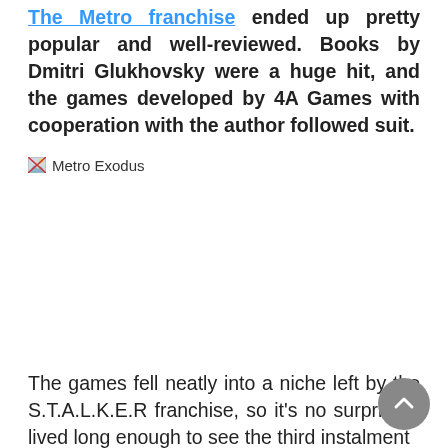The Metro franchise ended up pretty popular and well-reviewed. Books by Dmitri Glukhovsky were a huge hit, and the games developed by 4A Games with cooperation with the author followed suit.
[Figure (photo): Broken image placeholder labeled 'Metro Exodus']
The games fell neatly into a niche left by the S.T.A.L.K.E.R franchise, so it's no surprise it lived long enough to see the third instalment